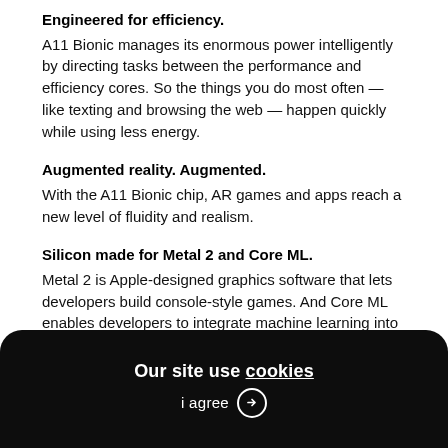Engineered for efficiency.
A11 Bionic manages its enormous power intelligently by directing tasks between the performance and efficiency cores. So the things you do most often — like texting and browsing the web — happen quickly while using less energy.
Augmented reality. Augmented.
With the A11 Bionic chip, AR games and apps reach a new level of fluidity and realism.
Silicon made for Metal 2 and Core ML.
Metal 2 is Apple-designed graphics software that lets developers build console-style games. And Core ML enables developers to integrate machine learning into their apps. The GPU in A11 Bionic is optimized for these new, immersive 3D games and AR experiences.
Wireless Charging
How do you make an iPhone designed for a wireless
Our site use cookies
i agree →